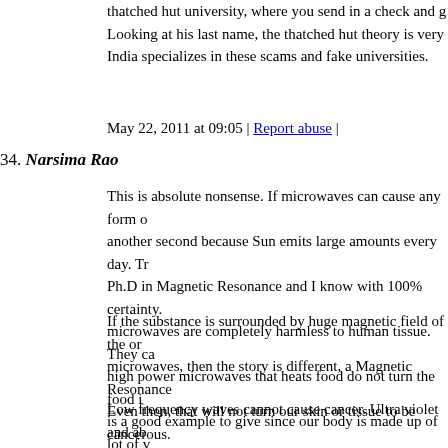thatched hut university, where you send in a check and g… Looking at his last name, the thatched hut theory is very… India specializes in these scams and fake universities.
May 22, 2011 at 09:05 | Report abuse |
34. Narsima Rao
This is absolute nonsense. If microwaves can cause any form o… another second because Sun emits large amounts every day. Tr… Ph.D in Magnetic Resonance and I know with 100% certainty.… microwaves are completely harmless to human tissue. They ca… high power microwaves that heats food do not turn the food i… is a good example to give since our body is made up of lot of v… microwave, its temperature raises due to molecular activity ge… molecules are not destroyed nor turn them into completely so… radiation is 100% harmless to our body. They are 100 times sa… use.
If the substance is surrounded by huge magnetic field of the or… microwaves, then the story is different, a Magnetic Resonance… Even then, that will not turn our skin or tissue to be cancerous.… microwaves) is absorbed and released it immediately on micro…
Low frequency waves cannot cause cancer. Ultra violet and ab… exposed to a great deal over above our barrier level. Cancer ce… birth. They are constantly removed from our body by our bod…